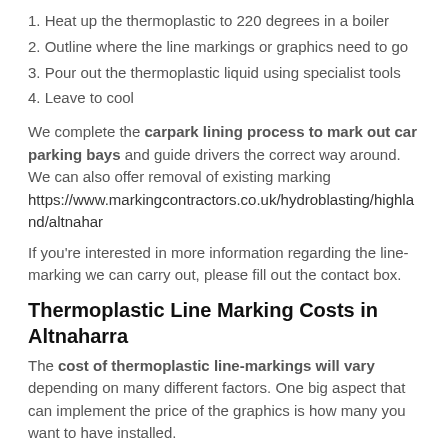1. Heat up the thermoplastic to 220 degrees in a boiler
2. Outline where the line markings or graphics need to go
3. Pour out the thermoplastic liquid using specialist tools
4. Leave to cool
We complete the carpark lining process to mark out car parking bays and guide drivers the correct way around. We can also offer removal of existing marking https://www.markingcontractors.co.uk/hydroblasting/highland/altnahar
If you're interested in more information regarding the line-marking we can carry out, please fill out the contact box.
Thermoplastic Line Marking Costs in Altnaharra
The cost of thermoplastic line-markings will vary depending on many different factors. One big aspect that can implement the price of the graphics is how many you want to have installed.
Obviously if you are looking to line-mark a big carpark with lots of parking bays, the thermoplastic line-marking costs will be much higher than if you were to outline just a few bays in a smaller